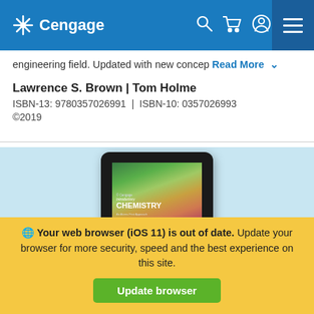Cengage
engineering field. Updated with new concep Read More
Lawrence S. Brown | Tom Holme
ISBN-13: 9780357026991 | ISBN-10: 0357026993
©2019
[Figure (screenshot): Introductory Chemistry textbook displayed on a tablet device, shown against a light blue background]
🌐 Your web browser (iOS 11) is out of date. Update your browser for more security, speed and the best experience on this site. [Update browser]